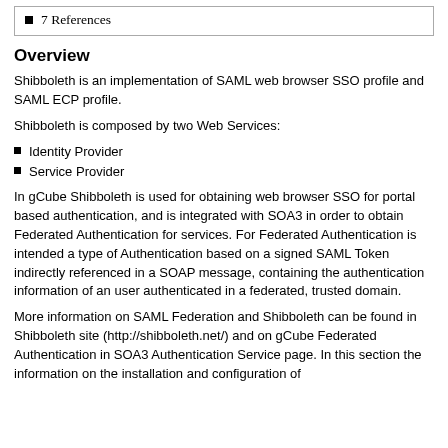7 References
Overview
Shibboleth is an implementation of SAML web browser SSO profile and SAML ECP profile.
Shibboleth is composed by two Web Services:
Identity Provider
Service Provider
In gCube Shibboleth is used for obtaining web browser SSO for portal based authentication, and is integrated with SOA3 in order to obtain Federated Authentication for services. For Federated Authentication is intended a type of Authentication based on a signed SAML Token indirectly referenced in a SOAP message, containing the authentication information of an user authenticated in a federated, trusted domain.
More information on SAML Federation and Shibboleth can be found in Shibboleth site (http://shibboleth.net/) and on gCube Federated Authentication in SOA3 Authentication Service page. In this section the information on the installation and configuration of...